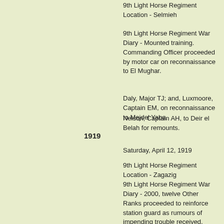9th Light Horse Regiment Location - Selmieh
9th Light Horse Regiment War Diary - Mounted training. Commanding Officer proceeded by motor car on reconnaissance to El Mughar.
Daly, Major TJ; and, Luxmoore, Captain EM, on reconnaissance to Mejdel Yaba.
Nelson, Captain AH, to Deir el Belah for remounts.
1919
Saturday, April 12, 1919
9th Light Horse Regiment Location - Zagazig
9th Light Horse Regiment War Diary - 2000, twelve Other Ranks proceeded to reinforce station guard as rumours of impending trouble received.